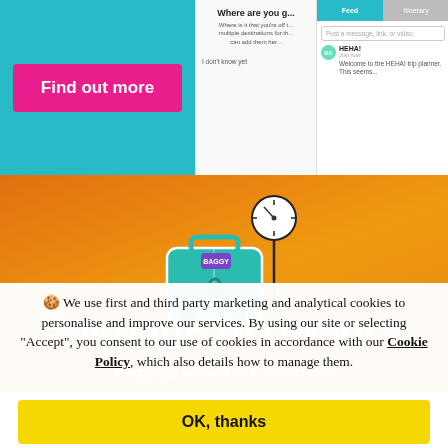[Figure (screenshot): Top section with cyan background on left containing a pink 'Find out more' button, and right side showing a mobile app screenshot with chat interface and 'Where are you g...' panel]
[Figure (illustration): Orange background section with illustrated teal suitcase on a weighing scale, above bold white text 'Baggage Allowance' and subtitle 'Baggage allowance • Security']
🍪 We use first and third party marketing and analytical cookies to personalise and improve our services. By using our site or selecting "Accept", you consent to our use of cookies in accordance with our Cookie Policy, which also details how to manage them.
OK, thanks